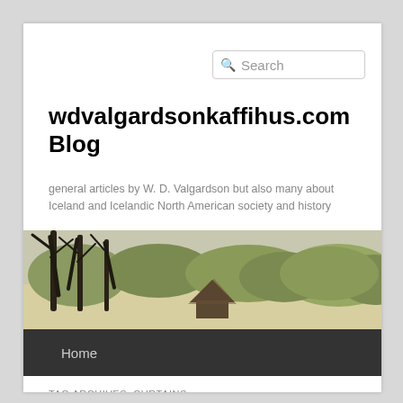Search
wdvalgardsonkaffihus.com Blog
general articles by W. D. Valgardson but also many about Iceland and Icelandic North American society and history
[Figure (photo): Outdoor scene with dark twisted trees on sandy ground and green shrubs in background, with a small rustic thatched structure partially visible]
Home
TAG ARCHIVES: CURTAINS